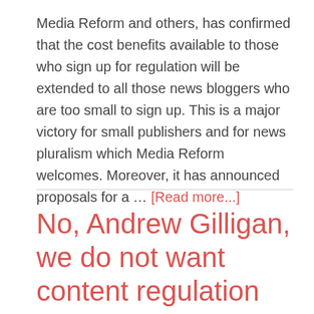Media Reform and others, has confirmed that the cost benefits available to those who sign up for regulation will be extended to all those news bloggers who are too small to sign up. This is a major victory for small publishers and for news pluralism which Media Reform welcomes. Moreover, it has announced proposals for a … [Read more...]
No, Andrew Gilligan, we do not want content regulation
April 19, 2013 By Media Reform Coalition